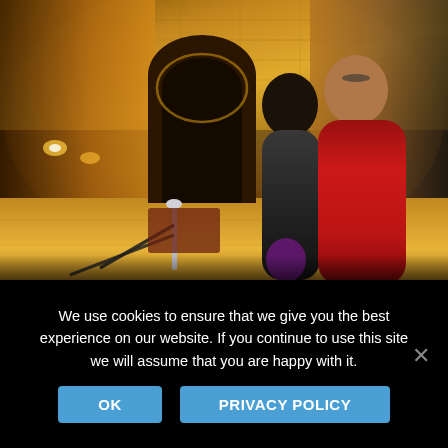[Figure (photo): Two women tourists inside an ornate mosque or historic Islamic building. The interior features golden-lit decorative tilework and arched doorways. One woman wears a red puffer jacket, the other a dark jacket. A rope barrier with posts is visible. The scene is warmly lit in amber/gold tones.]
We use cookies to ensure that we give you the best experience on our website. If you continue to use this site we will assume that you are happy with it.